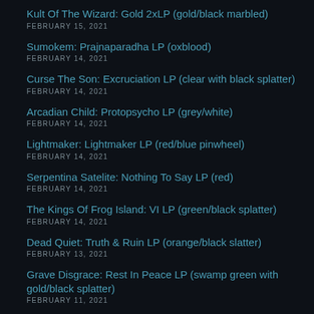Kult Of The Wizard: Gold 2xLP (gold/black marbled)
FEBRUARY 15, 2021
Sumokem: Prajnaparadha LP (oxblood)
FEBRUARY 14, 2021
Curse The Son: Excruciation LP (clear with black splatter)
FEBRUARY 14, 2021
Arcadian Child: Protopsycho LP (grey/white)
FEBRUARY 14, 2021
Lightmaker: Lightmaker LP (red/blue pinwheel)
FEBRUARY 14, 2021
Serpentina Satelite: Nothing To Say LP (red)
FEBRUARY 14, 2021
The Kings Of Frog Island: VI LP (green/black splatter)
FEBRUARY 14, 2021
Dead Quiet: Truth & Ruin LP (orange/black slatter)
FEBRUARY 13, 2021
Grave Disgrace: Rest In Peace LP (swamp green with gold/black splatter)
FEBRUARY 11, 2021
Betelzeus: Congolese Sterilization LP (magenta/clear)
JANUARY 14, 2021